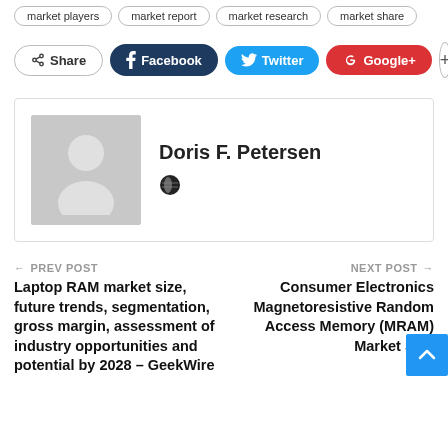market players
market report
market research
market share
Share | Facebook | Twitter | Google+ | +
Doris F. Petersen
← PREV POST
Laptop RAM market size, future trends, segmentation, gross margin, assessment of industry opportunities and potential by 2028 – GeekWire
NEXT POST →
Consumer Electronics Magnetoresistive Random Access Memory (MRAM) Market Size